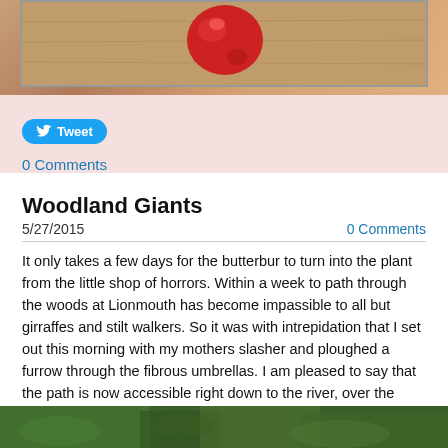[Figure (photo): Top cropped photo showing what appears to be a red berry or fruit on a wooden surface, partially visible]
[Figure (other): Tweet button (blue rounded pill button with Twitter bird icon and 'Tweet' label)]
0 Comments
Woodland Giants
5/27/2015
0 Comments
It only takes a few days for the butterbur to turn into the plant from the little shop of horrors. Within a week to path through the woods at Lionmouth has become impassible to all but girraffes and stilt walkers. So it was with intrepidation that I set out this morning with my mothers slasher and ploughed a furrow through the fibrous umbrellas. I am pleased to say that the path is now accessible right down to the river, over the garlic plain and up past the monks bathing pond. To boot, it's a stunning mix of sparkling garlic flower heads mixed with iridescent bluebells, feathery sweet cicely. Well worth a trot round
[Figure (photo): Bottom cropped photo showing green woodland/forest vegetation, partially visible at bottom of page]